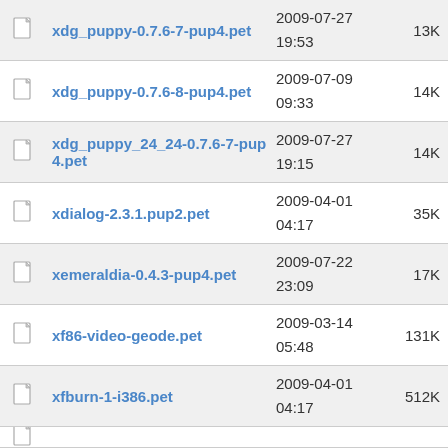xdg_puppy-0.7.6-7-pup4.pet | 2009-07-27 19:53 | 13K
xdg_puppy-0.7.6-8-pup4.pet | 2009-07-09 09:33 | 14K
xdg_puppy_24_24-0.7.6-7-pup4.pet | 2009-07-27 19:15 | 14K
xdialog-2.3.1.pup2.pet | 2009-04-01 04:17 | 35K
xemeraldia-0.4.3-pup4.pet | 2009-07-22 23:09 | 17K
xf86-video-geode.pet | 2009-03-14 05:48 | 131K
xfburn-1-i386.pet | 2009-04-01 04:17 | 512K
(partial row visible)